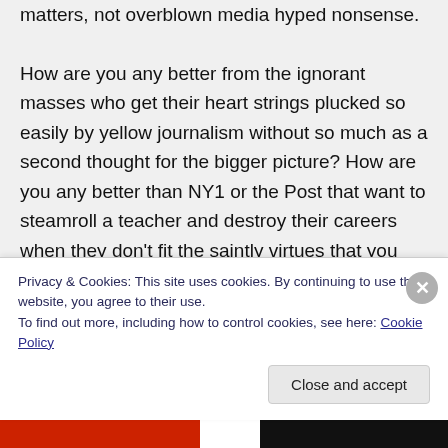matters, not overblown media hyped nonsense.
How are you any better from the ignorant masses who get their heart strings plucked so easily by yellow journalism without so much as a second thought for the bigger picture? How are you any better than NY1 or the Post that want to steamroll a teacher and destroy their careers when they don't fit the saintly virtues that you yourself could
Privacy & Cookies: This site uses cookies. By continuing to use this website, you agree to their use.
To find out more, including how to control cookies, see here: Cookie Policy